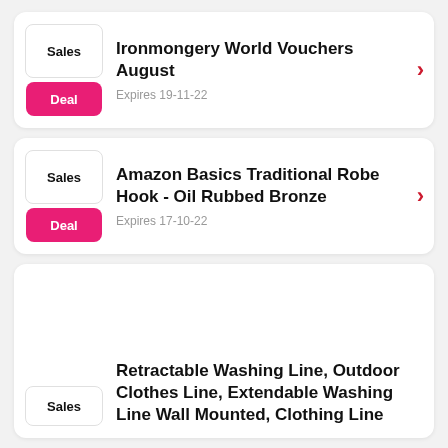Ironmongery World Vouchers August — Expires 19-11-22
Amazon Basics Traditional Robe Hook - Oil Rubbed Bronze — Expires 17-10-22
Retractable Washing Line, Outdoor Clothes Line, Extendable Washing Line Wall Mounted, Clothing Line